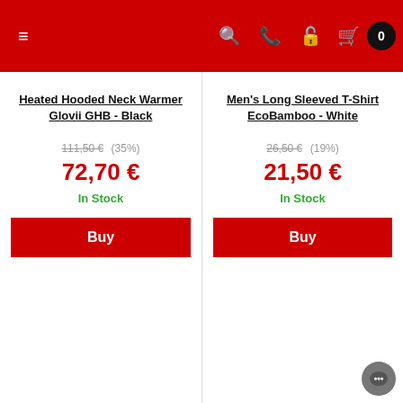Navigation bar with hamburger menu, search, phone, account, cart (0) icons
Heated Hooded Neck Warmer Glovii GHB - Black
111,50 € (35%) 72,70 € In Stock
Men's Long Sleeved T-Shirt EcoBamboo - White
26,50 € (19%) 21,50 € In Stock